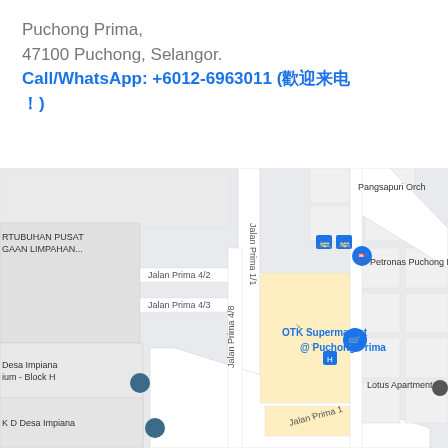Puchong Prima,
47100 Puchong, Selangor.
Call/WhatsApp: +6012-6963011 (欢迎来电!)
[Figure (map): Google Maps screenshot showing Puchong Prima area with landmarks including OTK Supermarket @ Puchong Prima, Petronas Puchong Pri, Pangsapuri Orch, Lotus Apartment, Desa Impiana ium - Block H, K D Desa Impiana, and street labels Jalan Prima 4/2, Jalan Prima 4/3, Jalan Prima 4/8, Jalan Prima 1/1, Jalan Prima 1. Also shows RTUBUHAN PUSAT GAAN LIMPAHAN... label on left.]